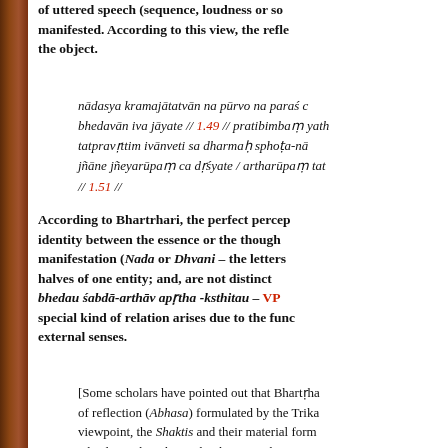of uttered speech (sequence, loudness or so manifested. According to this view, the reflection the object.
According to Bhartrhari, the perfect perception identity between the essence or the thought manifestation (Nada or Dhvani – the letters halves of one entity; and, are not distinct bhedau śabdā-arthāv apṛtha -ksthitau – VP special kind of relation arises due to the function external senses.
[Some scholars have pointed out that Bhartṛha of reflection (Abhasa) formulated by the Trika viewpoint, the Shaktis and their material form Absolute. The relationship between the two i mirror and its reflection. That is: the latter ca